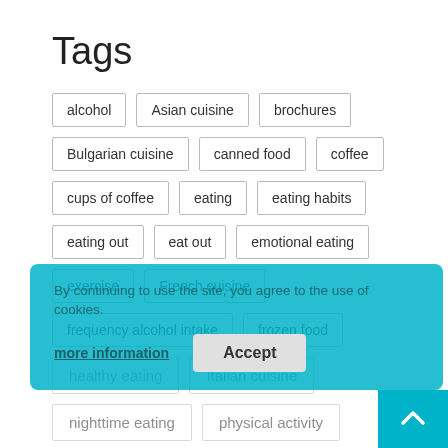Tags
alcohol
Asian cuisine
brochures
Bulgarian cuisine
canned food
coffee
cups of coffee
eating
eating habits
eating out
eat out
emotional eating
exercise
French cuisine
frequency alcohol intake
frozen food
healthy eating
Italian cuisine
nighttime eating
physical activity
By continuing to use the site, you agree to the use of cookies.
more information
Accept